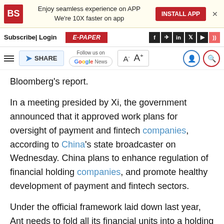[Figure (screenshot): Business Standard website header with logo, install app banner, navigation bar with subscribe/login/e-paper, social icons, and toolbar with share, Google News follow, font size controls, and search/user icons.]
Bloomberg's report.
In a meeting presided by Xi, the government announced that it approved work plans for oversight of payment and fintech companies, according to China's state broadcaster on Wednesday. China plans to enhance regulation of financial holding companies, and promote healthy development of payment and fintech sectors.
Under the official framework laid down last year, Ant needs to fold all its financial units into a holding